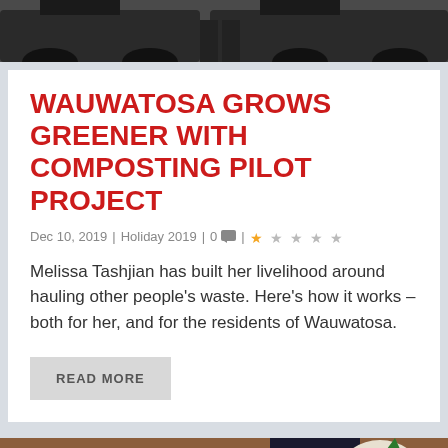[Figure (photo): Top portion of a photo showing dark vehicles/trucks and a person's legs, cropped at top of page]
WAUWATOSA GROWS GREENER WITH COMPOSTING PILOT PROJECT
Dec 10, 2019 | Holiday 2019 | 0 | ★☆☆☆☆
Melissa Tashjian has built her livelihood around hauling other people's waste. Here's how it works – both for her, and for the residents of Wauwatosa.
READ MORE
[Figure (illustration): Bottom portion showing a colorful illustration of an elf or Santa character peeking around a wooden door, partially visible at bottom of page]